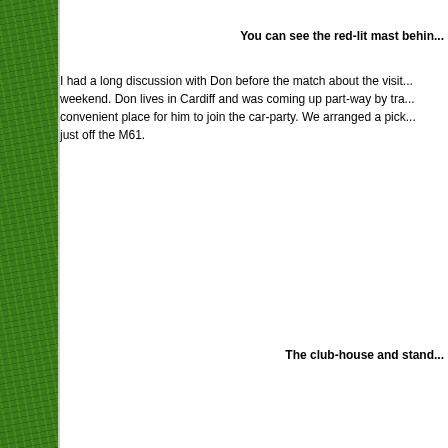[Figure (photo): Green grass texture sidebar on the left edge of the page]
You can see the red-lit mast behin...
I had a long discussion with Don before the match about the visit... weekend. Don lives in Cardiff and was coming up part-way by tra... convenient place for him to join the car-party. We arranged a pick... just off the M61.
The club-house and stand...